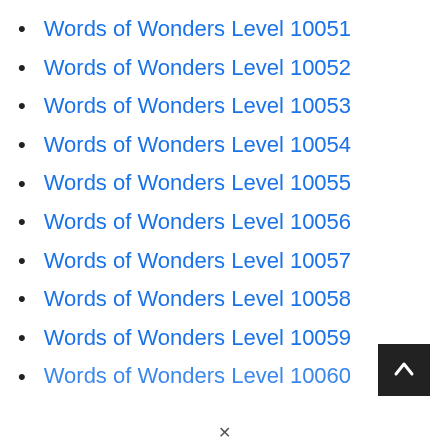Words of Wonders Level 10051
Words of Wonders Level 10052
Words of Wonders Level 10053
Words of Wonders Level 10054
Words of Wonders Level 10055
Words of Wonders Level 10056
Words of Wonders Level 10057
Words of Wonders Level 10058
Words of Wonders Level 10059
Words of Wonders Level 10060